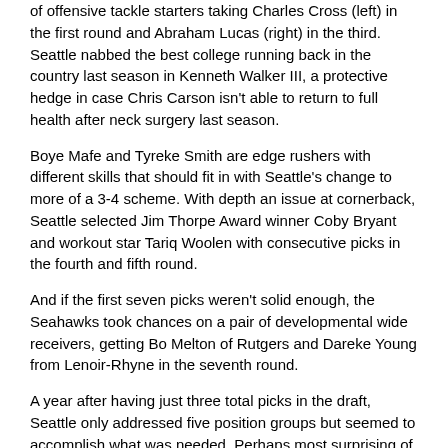of offensive tackle starters taking Charles Cross (left) in the first round and Abraham Lucas (right) in the third. Seattle nabbed the best college running back in the country last season in Kenneth Walker III, a protective hedge in case Chris Carson isn't able to return to full health after neck surgery last season.
Boye Mafe and Tyreke Smith are edge rushers with different skills that should fit in with Seattle's change to more of a 3-4 scheme. With depth an issue at cornerback, Seattle selected Jim Thorpe Award winner Coby Bryant and workout star Tariq Woolen with consecutive picks in the fourth and fifth round.
And if the first seven picks weren't solid enough, the Seahawks took chances on a pair of developmental wide receivers, getting Bo Melton of Rutgers and Dareke Young from Lenoir-Rhyne in the seventh round.
A year after having just three total picks in the draft, Seattle only addressed five position groups but seemed to accomplish what was needed. Perhaps most surprising of all, the Seahawks made just one trade.
"I definitely thought we would move around more than we did," Schneider said.
QB QUESTION
The glaring absence from Seattle's draft list was selecting one of the available quarterbacks, reinforcing what Carroll has said that Geno Smith, Drew Lock and Jacob Eason will get their chances to win the job. That doesn't preclude